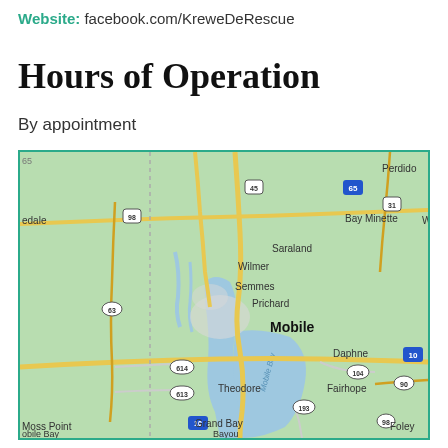Website: facebook.com/KreweDeRescue
Hours of Operation
By appointment
[Figure (map): Google Maps style map showing the Mobile, Alabama area including surrounding cities: Saraland, Semmes, Prichard, Mobile, Wilmer, Daphne, Fairhope, Theodore, Grand Bay, Bayou La Batre, Moss Point, Bay Minette, Perdido, Foley. Major highways visible: I-65, I-10, US-98, US-45, US-31, US-63, routes 104, 90, 193, 614, 613.]